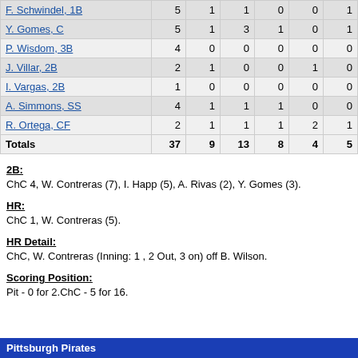| Player | AB | R | H | RBI | BB | SO |
| --- | --- | --- | --- | --- | --- | --- |
| F. Schwindel, 1B | 5 | 1 | 1 | 0 | 0 | 1 |
| Y. Gomes, C | 5 | 1 | 3 | 1 | 0 | 1 |
| P. Wisdom, 3B | 4 | 0 | 0 | 0 | 0 | 0 |
| J. Villar, 2B | 2 | 1 | 0 | 0 | 1 | 0 |
| I. Vargas, 2B | 1 | 0 | 0 | 0 | 0 | 0 |
| A. Simmons, SS | 4 | 1 | 1 | 1 | 0 | 0 |
| R. Ortega, CF | 2 | 1 | 1 | 1 | 2 | 1 |
| Totals | 37 | 9 | 13 | 8 | 4 | 5 |
2B:
ChC 4, W. Contreras (7), I. Happ (5), A. Rivas (2), Y. Gomes (3).
HR:
ChC 1, W. Contreras (5).
HR Detail:
ChC, W. Contreras (Inning: 1 , 2 Out, 3 on) off B. Wilson.
Scoring Position:
Pit - 0 for 2.ChC - 5 for 16.
Pittsburgh Pirates